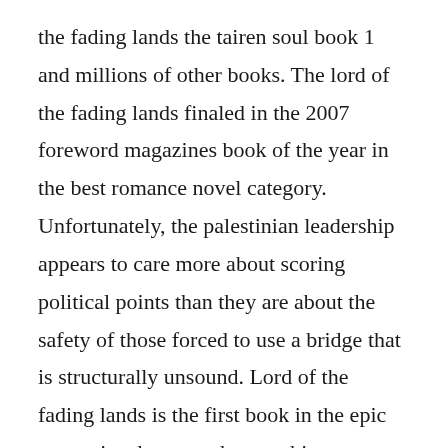the fading lands the tairen soul book 1 and millions of other books. The lord of the fading lands finaled in the 2007 foreword magazines book of the year in the best romance novel category. Unfortunately, the palestinian leadership appears to care more about scoring political points than they are about the safety of those forced to use a bridge that is structurally unsound. Lord of the fading lands is the first book in the epic romantic adventure that combines sweeping fantasy with breathtaking paranormal romance. Eve and rourke return to investigate a series of